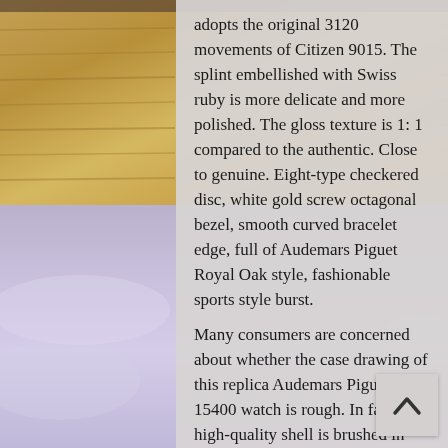[Figure (photo): Background image: top portion shows wooden deck/planks in warm golden-brown tones; bottom portion shows a purple/lavender sky background. A translucent grey text panel overlays the right-center portion of the image.]
adopts the original 3120 movements of Citizen 9015. The splint embellished with Swiss ruby is more delicate and more polished. The gloss texture is 1: 1 compared to the authentic. Close to genuine. Eight-type checkered disc, white gold screw octagonal bezel, smooth curved bracelet edge, full of Audemars Piguet Royal Oak style, fashionable sports style burst.
Many consumers are concerned about whether the case drawing of this replica Audemars Piguet 15400 watch is rough. In fact, this high-quality shell is brushed in place, and the surface feels very smooth, so you do n't have to worry about the rough surface. This matter has